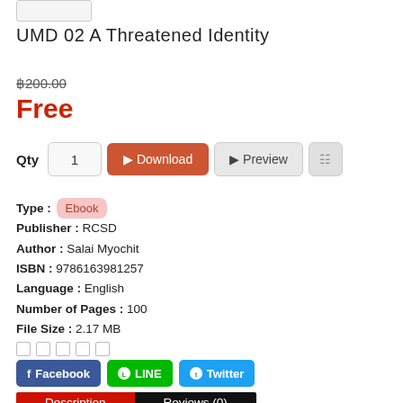[Figure (illustration): Small book cover thumbnail, light gray with faint text, bordered]
UMD 02 A Threatened Identity
฿200.00 (strikethrough price)
Free
Qty 1 | Download | Preview
Type : Ebook
Publisher : RCSD
Author : Salai Myochit
ISBN : 9786163981257
Language : English
Number of Pages : 100
File Size : 2.17 MB
Star rating icons (5 empty)
Facebook  LINE  Twitter
Description  Reviews (0)